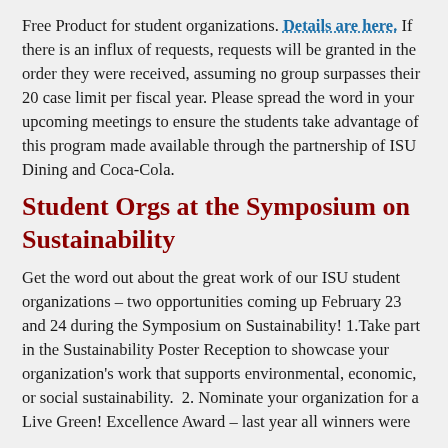Free Product for student organizations. Details are here. If there is an influx of requests, requests will be granted in the order they were received, assuming no group surpasses their 20 case limit per fiscal year. Please spread the word in your upcoming meetings to ensure the students take advantage of this program made available through the partnership of ISU Dining and Coca-Cola.
Student Orgs at the Symposium on Sustainability
Get the word out about the great work of our ISU student organizations – two opportunities coming up February 23 and 24 during the Symposium on Sustainability! 1.Take part in the Sustainability Poster Reception to showcase your organization's work that supports environmental, economic, or social sustainability.  2. Nominate your organization for a Live Green! Excellence Award – last year all winners were